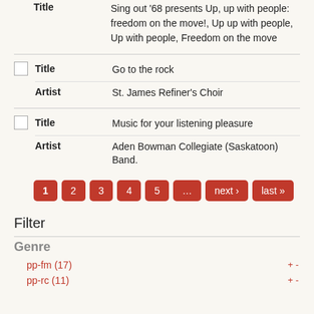Title: Sing out '68 presents Up, up with people: freedom on the move!, Up up with people, Up with people, Freedom on the move
| Field | Value |
| --- | --- |
| Title | Go to the rock |
| Artist | St. James Refiner's Choir |
| Field | Value |
| --- | --- |
| Title | Music for your listening pleasure |
| Artist | Aden Bowman Collegiate (Saskatoon) Band. |
Pagination: 1, 2, 3, 4, 5, ..., next ›, last »
Filter
Genre
pp-fm (17)
pp-rc (11)